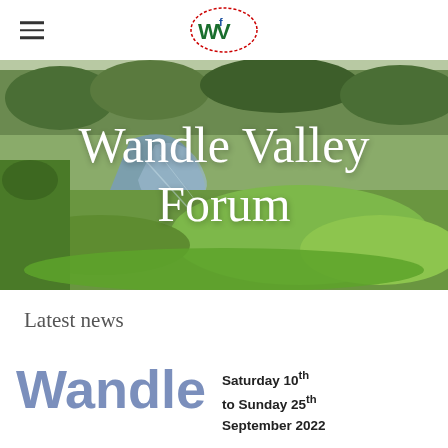Wandle Valley Forum
[Figure (photo): Photograph of a river with green vegetation, trees in background, with text overlay 'Wandle Valley Forum' in white serif font]
Wandle Valley Forum
Latest news
Wandle   Saturday 10th to Sunday 25th September 2022